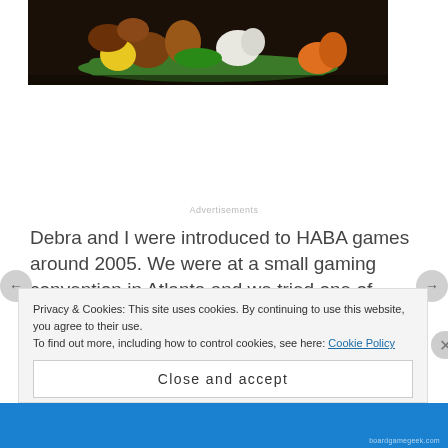[Figure (photo): Photo of colorful wooden HABA puzzle/game pieces on a dark surface — yellow, green, brown, orange, white animal shapes]
Advertisements
Debra and I were introduced to HABA games around 2005. We were at a small gaming convention in Atlanta and we tried one of them out. Now a shelf is dedicated to these yellow boxes of joy. King among
Privacy & Cookies: This site uses cookies. By continuing to use this website, you agree to their use.
To find out more, including how to control cookies, see here: Cookie Policy
Close and accept